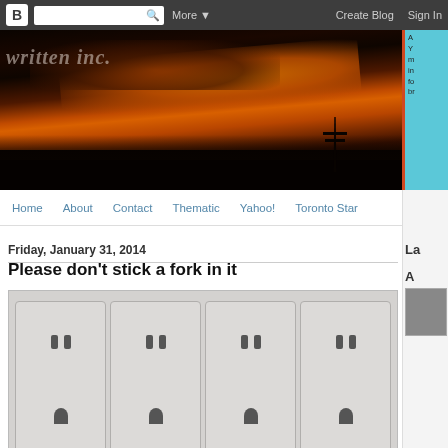B [search] More ▼  Create Blog  Sign In
[Figure (photo): Blog header image showing dramatic orange and red sunset sky with silhouetted treeline and power tower. Blog title 'written inc.' overlaid in light italic text.]
Home  About  Contact  Thematic  Yahoo!  Toronto Star
Friday, January 31, 2014
Please don't stick a fork in it
[Figure (photo): Close-up photograph of white electrical power outlet strip showing multiple outlet sockets in rows.]